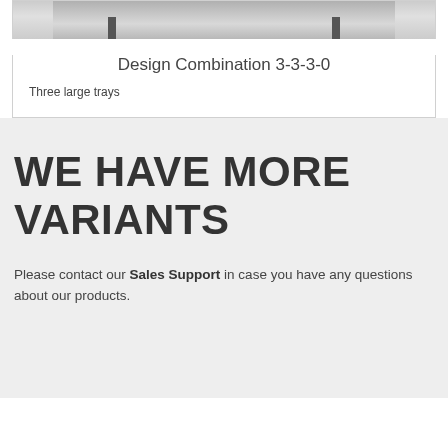[Figure (illustration): Partial image of a tray/shelf product design at the top of the card]
Design Combination 3-3-3-0
Three large trays
WE HAVE MORE VARIANTS
Please contact our Sales Support in case you have any questions about our products.